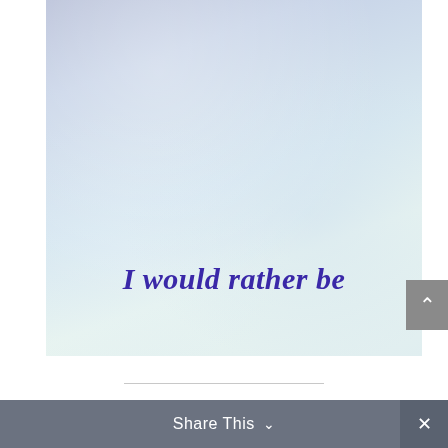[Figure (illustration): Watercolor-style background with light blue and lavender gradient texture, resembling textured paper or a watercolor wash. The upper portion has a more violet-blue tint fading to pale mint-white in the lower portion.]
I would rather be
Share This
Share This ∨  ✕